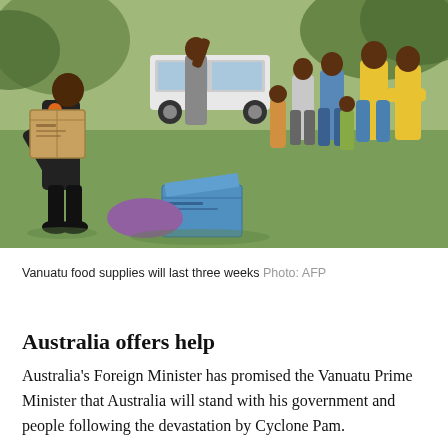[Figure (photo): People distributing food supplies outdoors on grass. A man in dark clothing bends down handling a cardboard box, while a group of people including children stand watching in the background near vehicles and trees.]
Vanuatu food supplies will last three weeks Photo: AFP
Australia offers help
Australia's Foreign Minister has promised the Vanuatu Prime Minister that Australia will stand with his government and people following the devastation by Cyclone Pam.